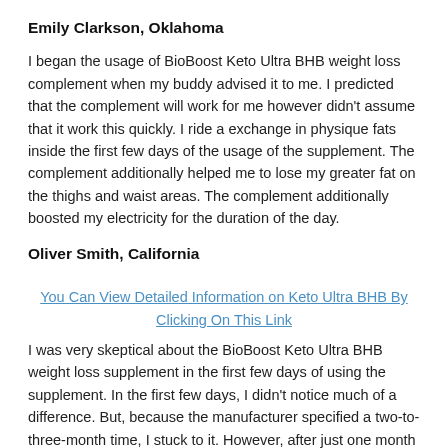Emily Clarkson, Oklahoma
I began the usage of BioBoost Keto Ultra BHB weight loss complement when my buddy advised it to me. I predicted that the complement will work for me however didn't assume that it work this quickly. I ride a exchange in physique fats inside the first few days of the usage of the supplement. The complement additionally helped me to lose my greater fat on the thighs and waist areas. The complement additionally boosted my electricity for the duration of the day.
Oliver Smith, California
You Can View Detailed Information on Keto Ultra BHB By Clicking On This Link
I was very skeptical about the BioBoost Keto Ultra BHB weight loss supplement in the first few days of using the supplement. In the first few days, I didn't notice much of a difference. But, because the manufacturer specified a two-to-three-month time, I stuck to it. However, after just one month of use, the supplement had made a